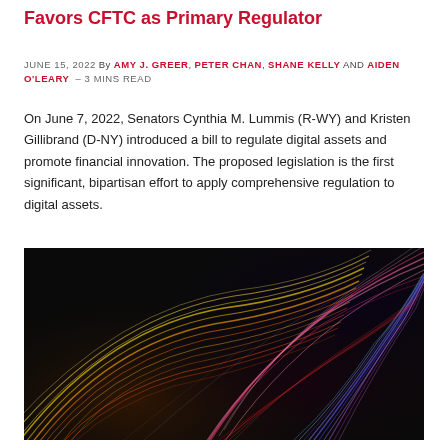Favors CFTC as Primary Regulator
JUNE 15, 2022 By AMY J. GREER, PETER CHAN, SHANE KELLY AND AIDEN O'LEARY – 3 MINS READ
On June 7, 2022, Senators Cynthia M. Lummis (R-WY) and Kristen Gillibrand (D-NY) introduced a bill to regulate digital assets and promote financial innovation. The proposed legislation is the first significant, bipartisan effort to apply comprehensive regulation to digital assets.
[Figure (photo): Abstract colorful light streaks on black background — swirling yellow, orange, red, pink, blue and purple light trails forming a circular pattern.]